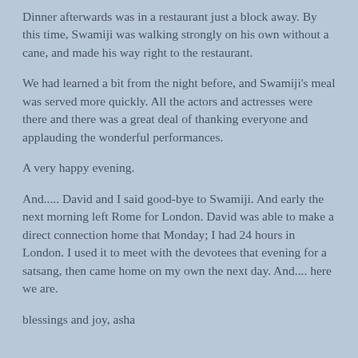Dinner afterwards was in a restaurant just a block away. By this time, Swamiji was walking strongly on his own without a cane, and made his way right to the restaurant.
We had learned a bit from the night before, and Swamiji's meal was served more quickly. All the actors and actresses were there and there was a great deal of thanking everyone and applauding the wonderful performances.
A very happy evening.
And..... David and I said good-bye to Swamiji. And early the next morning left Rome for London. David was able to make a direct connection home that Monday; I had 24 hours in London. I used it to meet with the devotees that evening for a satsang, then came home on my own the next day. And.... here we are.
blessings and joy, asha